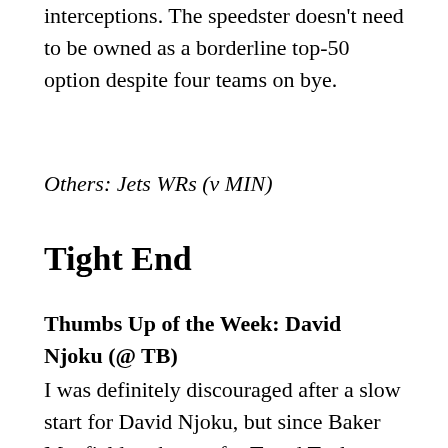interceptions. The speedster doesn't need to be owned as a borderline top-50 option despite four teams on bye.
Others: Jets WRs (v MIN)
Tight End
Thumbs Up of the Week: David Njoku (@ TB)
I was definitely discouraged after a slow start for David Njoku, but since Baker Mayfield took over for Tyrod Taylor, he's gone for lines